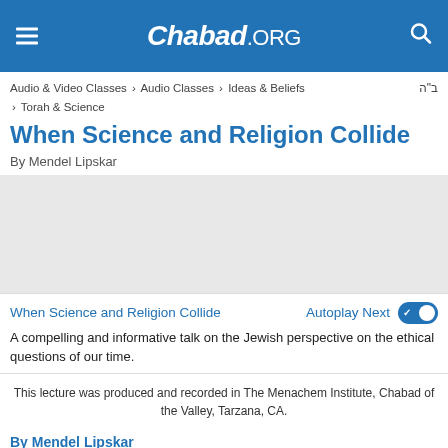Chabad.ORG
Audio & Video Classes > Audio Classes > Ideas & Beliefs ב"ה > Torah & Science
When Science and Religion Collide
By Mendel Lipskar
[Figure (other): Gray media player area]
When Science and Religion Collide   Autoplay Next [toggle on]
A compelling and informative talk on the Jewish perspective on the ethical questions of our time.
This lecture was produced and recorded in The Menachem Institute, Chabad of the Valley, Tarzana, CA.
By Mendel Lipskar